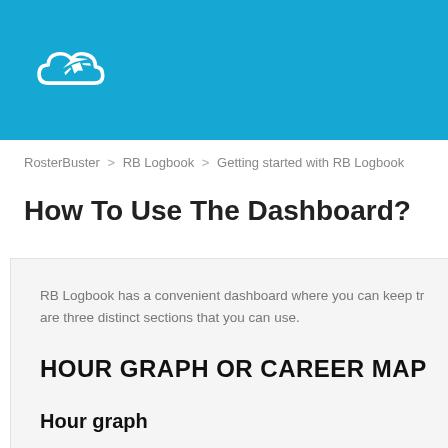RosterBuster logo header
RosterBuster > RB Logbook > Getting started with RB Logbook
How To Use The Dashboard?
RB Logbook has a convenient dashboard where you can keep tr are three distinct sections that you can use.
HOUR GRAPH OR CAREER MAP
Hour graph